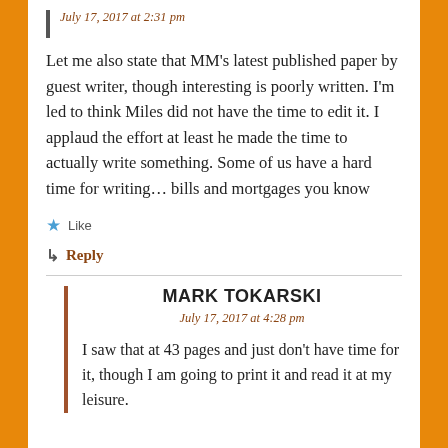July 17, 2017 at 2:31 pm
Let me also state that MM's latest published paper by guest writer, though interesting is poorly written. I'm led to think Miles did not have the time to edit it. I applaud the effort at least he made the time to actually write something. Some of us have a hard time for writing… bills and mortgages you know
★ Like
↳ Reply
MARK TOKARSKI
July 17, 2017 at 4:28 pm
I saw that at 43 pages and just don't have time for it, though I am going to print it and read it at my leisure.